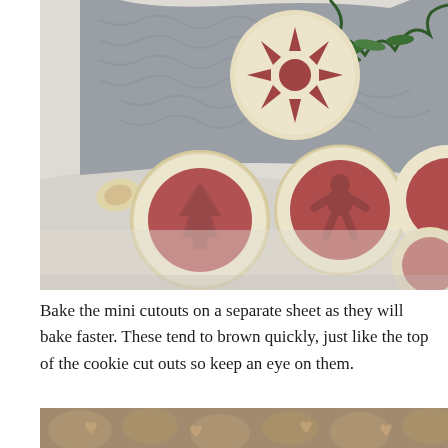[Figure (photo): Christmas Linzer cookies dusted with powdered sugar, shaped as ornament balls with cutout windows revealing red jam filling. Cutout shapes include a Christmas tree and a gingerbread man. A snowflake-shaped cookie is also visible. Cookies are scattered on a marble surface with a grey knit fabric in the background and pine sprigs.]
Bake the mini cutouts on a separate sheet as they will bake faster. These tend to brown quickly, just like the top of the cookie cut outs so keep an eye on them.
[Figure (photo): Close-up of baked cookies on a baking sheet dusted with powdered sugar, showing textured cookie surface.]